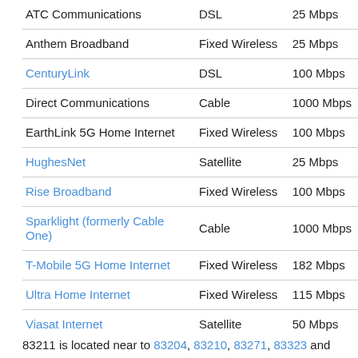| Provider | Type | Speed |
| --- | --- | --- |
| ATC Communications | DSL | 25 Mbps |
| Anthem Broadband | Fixed Wireless | 25 Mbps |
| CenturyLink | DSL | 100 Mbps |
| Direct Communications | Cable | 1000 Mbps |
| EarthLink 5G Home Internet | Fixed Wireless | 100 Mbps |
| HughesNet | Satellite | 25 Mbps |
| Rise Broadband | Fixed Wireless | 100 Mbps |
| Sparklight (formerly Cable One) | Cable | 1000 Mbps |
| T-Mobile 5G Home Internet | Fixed Wireless | 182 Mbps |
| Ultra Home Internet | Fixed Wireless | 115 Mbps |
| Viasat Internet | Satellite | 50 Mbps |
83211 is located near to 83204, 83210, 83271, 83323 and